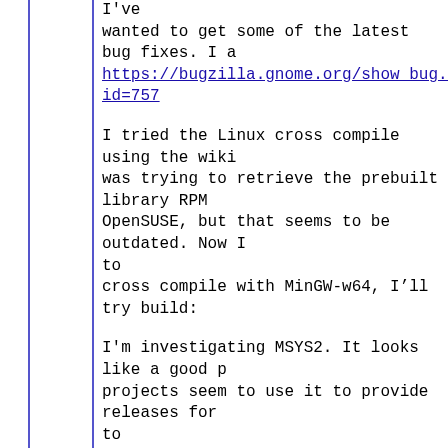I've wanted to get some of the latest bug fixes. I a https://bugzilla.gnome.org/show_bug.cgi?id=757
I tried the Linux cross compile using the wiki was trying to retrieve the prebuilt library RPM OpenSUSE, but that seems to be outdated. Now I to cross compile with MinGW-w64, I’ll try build:
I'm investigating MSYS2. It looks like a good p projects seem to use it to provide releases for to compile even with multiple threads set.  Some c Python so they might be able to help with Pyth
I attach my current "autogen" and "make" outpu most extras disabled as I just want to iron out the
http://filcs.dibarnow.org/autogen_output.txt